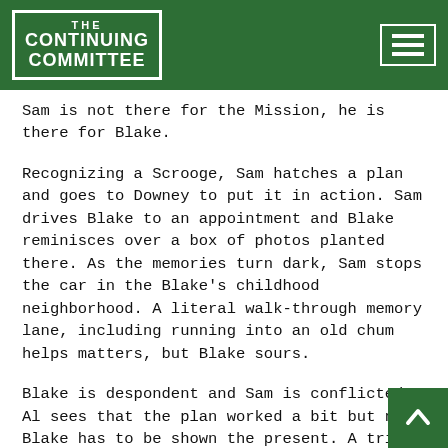THE CONTINUING COMMITTEE
Sam is not there for the Mission, he is there for Blake.
Recognizing a Scrooge, Sam hatches a plan and goes to Downey to put it in action. Sam drives Blake to an appointment and Blake reminisces over a box of photos planted there. As the memories turn dark, Sam stops the car in the Blake's childhood neighborhood. A literal walk-through memory lane, including running into an old chum helps matters, but Blake sours.
Blake is despondent and Sam is conflicted. Al sees that the plan worked a bit but now, Blake has to be shown the present. A trip to the site of Blake Plaza does not especially help but nearby carolers do. Going to the Mission, Blake is resolute to tear down the mission, but Downey gets them to join in